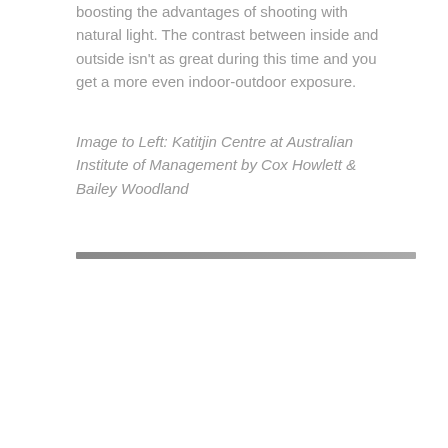boosting the advantages of shooting with natural light. The contrast between inside and outside isn't as great during this time and you get a more even indoor-outdoor exposure.
Image to Left: Katitjin Centre at Australian Institute of Management by Cox Howlett & Bailey Woodland